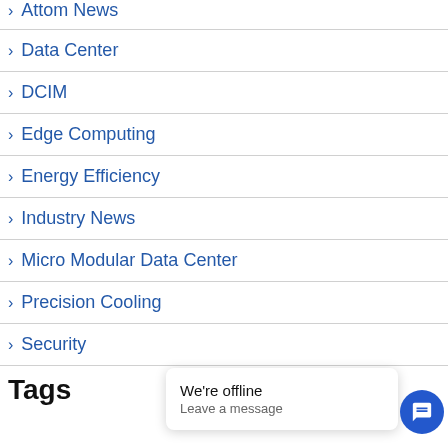Attom News
Data Center
DCIM
Edge Computing
Energy Efficiency
Industry News
Micro Modular Data Center
Precision Cooling
Security
Tags